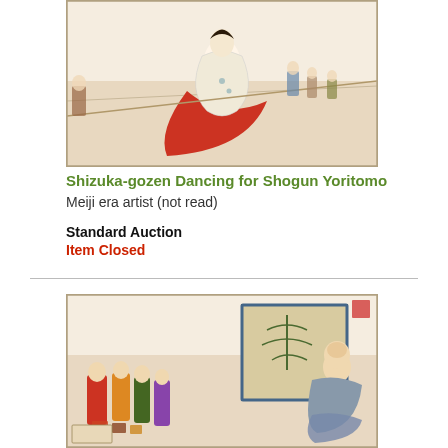[Figure (illustration): Japanese woodblock print showing a figure in red and white robes dancing, with audience members in background, framed with a thin border]
Shizuka-gozen Dancing for Shogun Yoritomo
Meiji era artist (not read)
Standard Auction
Item Closed
[Figure (illustration): Japanese woodblock print depicting a robed seated figure before a folding screen with pine tree, with several figures in colorful dress to the left, framed with a thin border]
Taira no Shigemori in Audience with His Father, Kiyomori
Meiji era artist (not read)